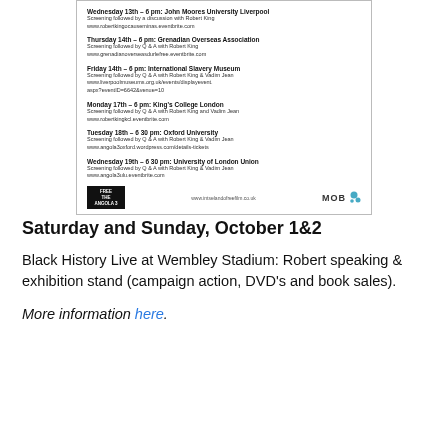[Figure (other): A scanned flyer/poster showing film screening events with logos for 'Free the Angola 3' and 'MOB Films'. Lists events on Wednesday 13th through Wednesday 19th at various UK venues including John Moores University Liverpool, Grenadian Overseas Association, International Slavery Museum, King's College London, Oxford University, and University of London Union, with a website URL www.intselandofreefilm.co.uk]
Saturday and Sunday, October 1&2
Black History Live at Wembley Stadium: Robert speaking & exhibition stand (campaign action, DVD's and book sales).
More information here.